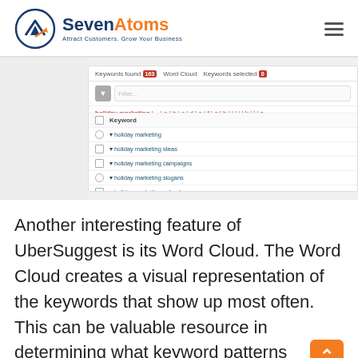[Figure (logo): SevenAtoms logo with circle/arrow icon and tagline 'Attract Customers. Grow Your Business']
[Figure (screenshot): Screenshot of UberSuggest keyword tool showing tabs 'Keywords found 163', 'Word Cloud', 'Keywords selected 0', a filter bar, alphabetical keyword navigation with 'holiday marketing' highlighted, and a list of keywords: holiday marketing, holiday marketing ideas, holiday marketing campaigns, holiday marketing slogans, holiday marketing calendar]
Another interesting feature of UberSuggest is its Word Cloud. The Word Cloud creates a visual representation of the keywords that show up most often. This can be valuable resource in determining what keyword patterns